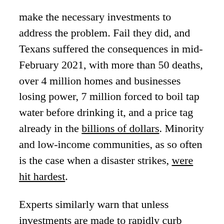make the necessary investments to address the problem. Fail they did, and Texans suffered the consequences in mid-February 2021, with more than 50 deaths, over 4 million homes and businesses losing power, 7 million forced to boil tap water before drinking it, and a price tag already in the billions of dollars. Minority and low-income communities, as so often is the case when a disaster strikes, were hit hardest.
Experts similarly warn that unless investments are made to rapidly curb greenhouse gas emissions, climate change will also usher in extreme weather with impacts societies are unprepared for, and